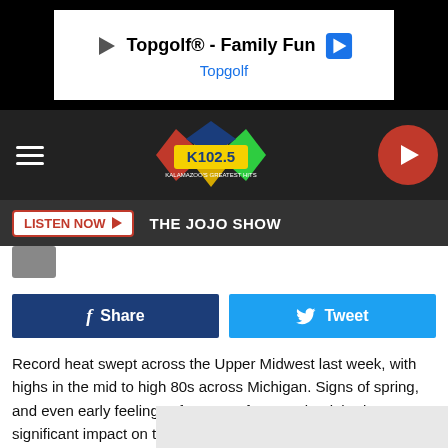[Figure (screenshot): Advertisement banner: Topgolf® - Family Fun, Topgolf, with play icon and navigation arrow icon on black background]
[Figure (logo): K102.5 Kalamazoo's Greatest Hits radio station logo with colorful diamond shapes, on dark header bar with hamburger menu and play button]
[Figure (screenshot): Listen Now button with red triangle, showing THE JOJO SHOW on dark bar]
[Figure (screenshot): Facebook Share button (dark blue) and Twitter Tweet button (light blue) side by side]
Record heat swept across the Upper Midwest last week, with highs in the mid to high 80s across Michigan. Signs of spring, and even early feelings of summer for sure, but it had a significant impact on the Great Lakes.
Because temperatures were so high, the lower four of the five Great Lakes saw a significant rise in temperature, some even c